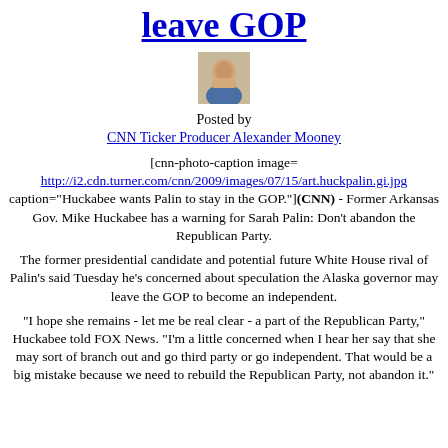leave GOP
[Figure (photo): Headshot photo of CNN Ticker Producer Alexander Mooney]
Posted by
CNN Ticker Producer Alexander Mooney
[cnn-photo-caption image= http://i2.cdn.turner.com/cnn/2009/images/07/15/art.huckpalin.gi.jpg caption="Huckabee wants Palin to stay in the GOP."](CNN) - Former Arkansas Gov. Mike Huckabee has a warning for Sarah Palin: Don't abandon the Republican Party.
The former presidential candidate and potential future White House rival of Palin's said Tuesday he's concerned about speculation the Alaska governor may leave the GOP to become an independent.
"I hope she remains - let me be real clear - a part of the Republican Party," Huckabee told FOX News. "I'm a little concerned when I hear her say that she may sort of branch out and go third party or go independent. That would be a big mistake because we need to rebuild the Republican Party, not abandon it."